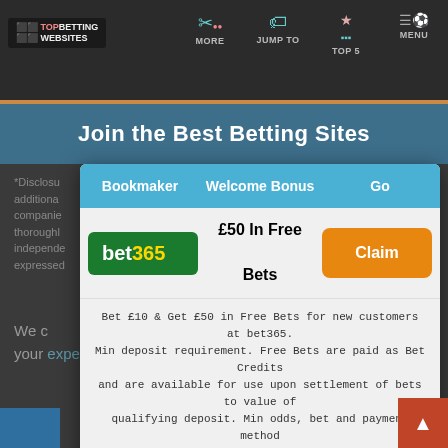TOP BETTING WEBSITES
Join the Best Betting Sites
*Disclosure: at no additional companies thorough independent expressed
| Bookmaker | Welcome Bonus | Go |
| --- | --- | --- |
| bet365 | £50 In Free Bets | Claim |
| UNIBET | Money back up to £40 if your first bet loses + £10 | Claim |
Bet £10 & Get £50 in Free Bets for new customers at bet365. Min deposit requirement. Free Bets are paid as Bet Credits and are available for use upon settlement of bets to value of qualifying deposit. Min odds, bet and payment method exclusions apply. Returns exclude Bet Credits stake. Time limits and T&Cs apply. #AD
We c... your experience...